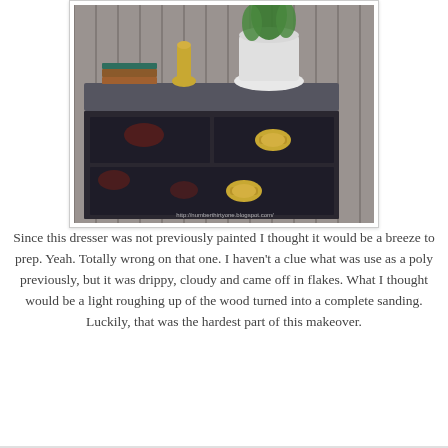[Figure (photo): A refinished dark dresser with gold ornate drawer pulls, displayed against a rustic wood plank fence background. On top of the dresser sits a white urn-style pot with a green plant, a gold vase, and stacked books. The dresser has a dark charcoal/black finish with reddish-brown distressed highlights. A watermark at the bottom reads http://numberthirtyone.blogspot.com/]
Since this dresser was not previously painted I thought it would be a breeze to prep. Yeah. Totally wrong on that one. I haven't a clue what was use as a poly previously, but it was drippy, cloudy and came off in flakes. What I thought would be a light roughing up of the wood turned into a complete sanding. Luckily, that was the hardest part of this makeover.